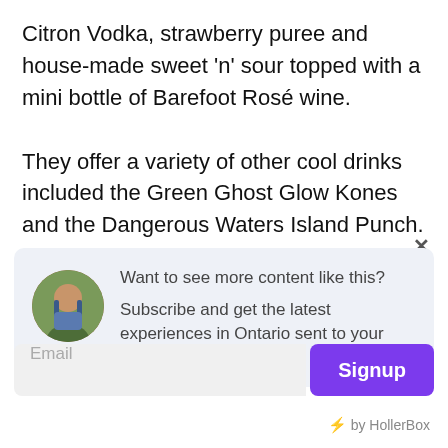Citron Vodka, strawberry puree and house-made sweet 'n' sour topped with a mini bottle of Barefoot Rosé wine.
They offer a variety of other cool drinks included the Green Ghost Glow Kones and the Dangerous Waters Island Punch.
Want to see more content like this? Subscribe and get the latest experiences in Ontario sent to your inbox.
Email
Signup
⚡ by HollerBox